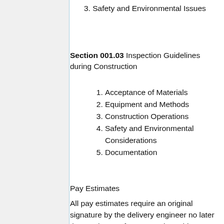3. Safety and Environmental Issues
Section 001.03 Inspection Guidelines during Construction
1. Acceptance of Materials
2. Equipment and Methods
3. Construction Operations
4. Safety and Environmental Considerations
5. Documentation
Pay Estimates
All pay estimates require an original signature by the delivery engineer no later than 48 hours after generation. This signature may be delegated to the assistant delivery engineer if they have been assigned to the project. However,